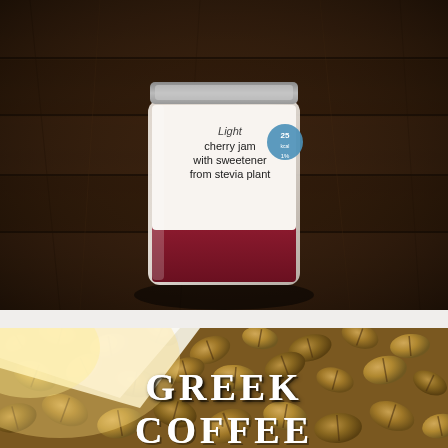[Figure (photo): A jar of light cherry jam with sweetener from stevia plant, photographed from above on a dark wooden table. The white label reads 'Light cherry jam with sweetener from stevia plant'. A small blue circular badge is visible on the label.]
[Figure (photo): Close-up photo of roasted coffee beans piled together with a white scoop partially visible. Text overlay reads 'GREEK COFFEE' in large white bold letters.]